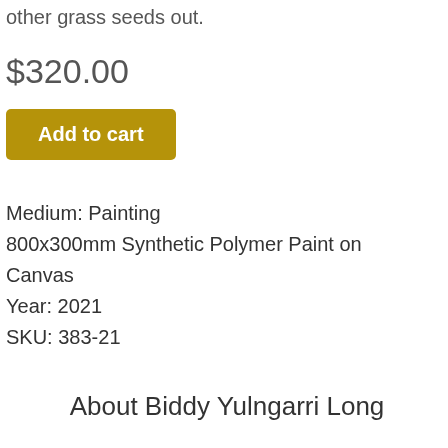other grass seeds out.
$320.00
Add to cart
Medium: Painting
800x300mm Synthetic Polymer Paint on Canvas
Year: 2021
SKU: 383-21
About Biddy Yulngarri Long